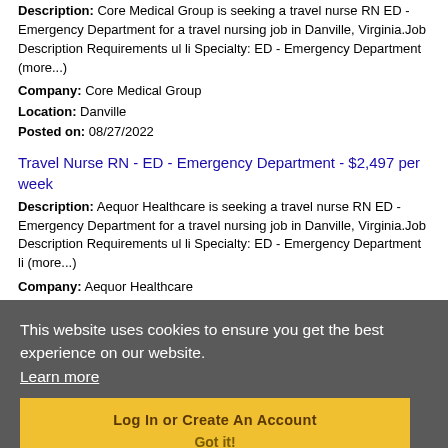Description: Core Medical Group is seeking a travel nurse RN ED - Emergency Department for a travel nursing job in Danville, Virginia.Job Description Requirements ul li Specialty: ED - Emergency Department (more...)
Company: Core Medical Group
Location: Danville
Posted on: 08/27/2022
Travel Nurse RN - ED - Emergency Department - $2,497 per week
Description: Aequor Healthcare is seeking a travel nurse RN ED - Emergency Department for a travel nursing job in Danville, Virginia.Job Description Requirements ul li Specialty: ED - Emergency Department li (more...)
Company: Aequor Healthcare
Location: Danville
Posted on:
Loading more jobs.
This website uses cookies to ensure you get the best experience on our website. Learn more
Log In or Create An Account
Got it!
Username: